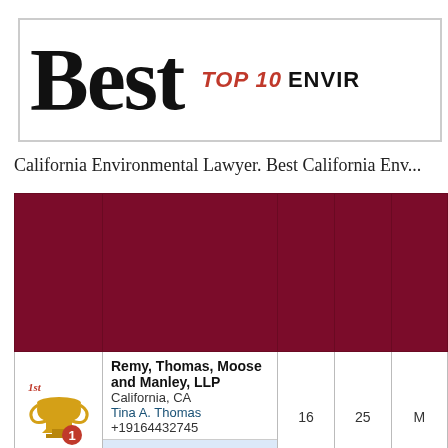[Figure (logo): Best Top 10 Environmental header banner with large bold 'Best' text and red 'TOP 10 ENVIR...' subtitle]
California Environmental Lawyer. Best California Env...
|  | Firm |  |  |  |
| --- | --- | --- | --- | --- |
| #1 [trophy icon] | Remy, Thomas, Moose and Manley, LLP
California, CA
Tina A. Thomas
+19164432745
File A Complaint
Commend This Firm | 16 | 25 | M |
|  | Skadden, Arps, Slate... |  |  |  |